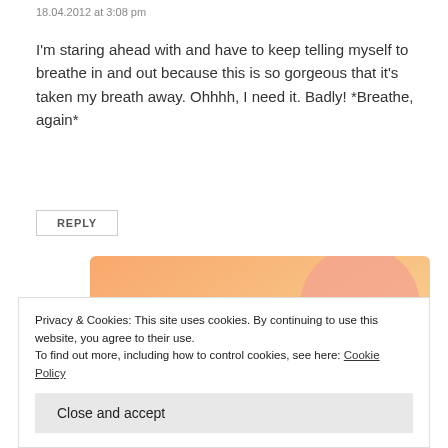18.04.2012 at 3:08 pm
I'm staring ahead with and have to keep telling myself to breathe in and out because this is so gorgeous that it's taken my breath away. Ohhhh, I need it. Badly! *Breathe, again*
REPLY
[Figure (illustration): WordPress advertisement banner with orange/pink gradient background and text 'WordPress in the back.']
Privacy & Cookies: This site uses cookies. By continuing to use this website, you agree to their use.
To find out more, including how to control cookies, see here: Cookie Policy
Close and accept